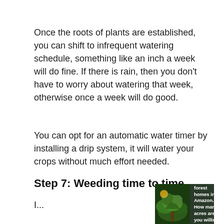Once the roots of plants are established, you can shift to infrequent watering schedule, something like an inch a week will do fine. If there is rain, then you don't have to worry about watering that week, otherwise once a week will do good.
You can opt for an automatic water timer by installing a drip system, it will water your crops without much effort needed.
Step 7: Weeding time to time
I...
[Figure (infographic): Advertisement banner with forest/Amazon imagery: 'Just $2 can protect 1 acre of irreplaceable forest homes in the Amazon. How many acres are you willing to protect?' with green 'PROTECT FORESTS NOW' button.]